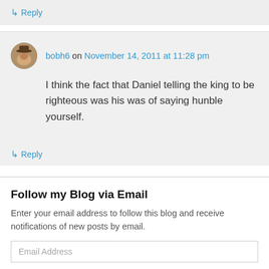↳ Reply
bobh6 on November 14, 2011 at 11:28 pm
I think the fact that Daniel telling the king to be righteous was his was of saying hunble yourself.
↳ Reply
Follow my Blog via Email
Enter your email address to follow this blog and receive notifications of new posts by email.
Email Address